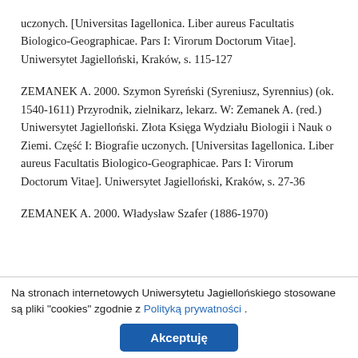uczonych. [Universitas Iagellonica. Liber aureus Facultatis Biologico-Geographicae. Pars I: Virorum Doctorum Vitae]. Uniwersytet Jagielloński, Kraków, s. 115-127
ZEMANEK A. 2000. Szymon Syreński (Syreniusz, Syrennius) (ok. 1540-1611) Przyrodnik, zielnikarz, lekarz. W: Zemanek A. (red.) Uniwersytet Jagielloński. Złota Księga Wydziału Biologii i Nauk o Ziemi. Część I: Biografie uczonych. [Universitas Iagellonica. Liber aureus Facultatis Biologico-Geographicae. Pars I: Virorum Doctorum Vitae]. Uniwersytet Jagielloński, Kraków, s. 27-36
ZEMANEK A. 2000. Władysław Szafer (1886-1970)
Na stronach internetowych Uniwersytetu Jagiellońskiego stosowane są pliki "cookies" zgodnie z Polityką prywatności .
Akceptuję